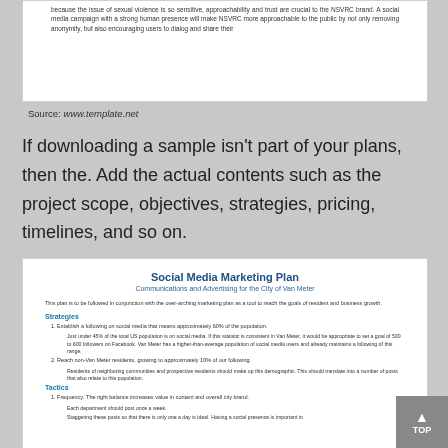[Figure (screenshot): Top portion of a document showing text about social media brand and NSVRC, partially visible]
Source: www.template.net
If downloading a sample isn't part of your plans, then the. Add the actual contents such as the project scope, objectives, strategies, pricing, timelines, and so on.
[Figure (screenshot): Document titled 'Social Media Marketing Plan — Communications and Advertising for the City of Van Meter', showing Strategies and Tactics sections with numbered list items]